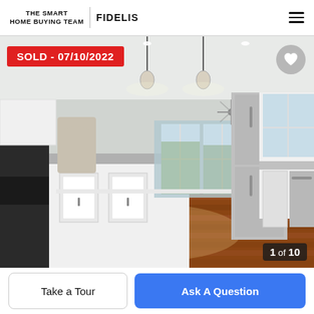THE SMART HOME BUYING TEAM | FIDELIS
[Figure (photo): Interior kitchen photo of a home for sale. Modern white kitchen cabinets, stainless steel refrigerator and dishwasher, kitchen island with gray countertop, pendant lights, and hardwood floors extending into a dining area with bay windows. Red SOLD badge dated 07/10/2022 in upper left. Heart icon button top right. Photo counter '1 of 10' bottom right.]
SOLD - 07/10/2022
1 of 10
Take a Tour
Ask A Question